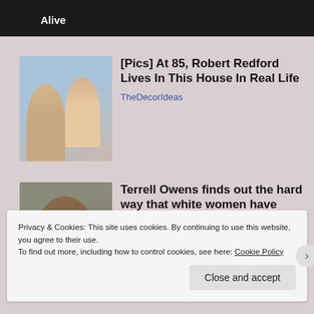Alive
[Figure (photo): Photo of Robert Redford with another person, smiling, light background]
[Pics] At 85, Robert Redford Lives In This House In Real Life
TheDecorIdeas
[Figure (photo): Photo of Terrell Owens wearing a cap, darker background]
Terrell Owens finds out the hard way that white women have weaponizing...
The Grio
Privacy & Cookies: This site uses cookies. By continuing to use this website, you agree to their use.
To find out more, including how to control cookies, see here: Cookie Policy
Close and accept